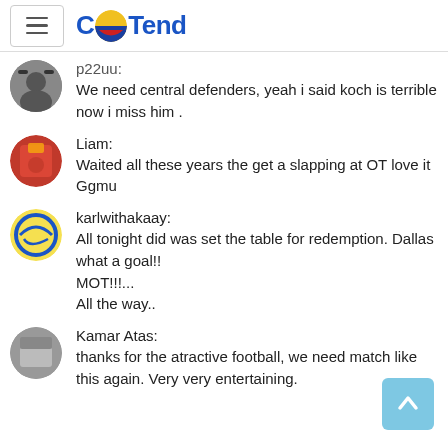CoTend
p22uu:
We need central defenders, yeah i said koch is terrible now i miss him .
Liam:
Waited all these years the get a slapping at OT love it Ggmu
karlwithakaay:
All tonight did was set the table for redemption. Dallas what a goal!!
MOT!!!...
All the way..
Kamar Atas:
thanks for the atractive football, we need match like this again. Very very entertaining.